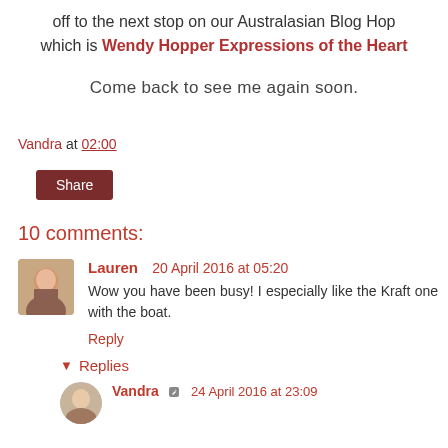off to the next stop on our Australasian Blog Hop which is Wendy Hopper Expressions of the Heart
Come back to see me again soon.
Vandra at 02:00
Share
10 comments:
Lauren  20 April 2016 at 05:20
Wow you have been busy! I especially like the Kraft one with the boat.
Reply
Replies
Vandra  24 April 2016 at 23:09